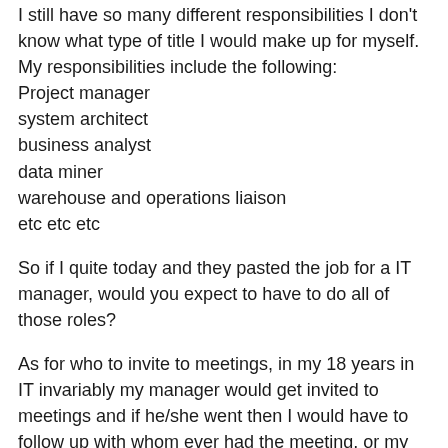I still have so many different responsibilities I don't know what type of title I would make up for myself.
My responsibilities include the following:
Project manager
system architect
business analyst
data miner
warehouse and operations liaison
etc etc etc
So if I quite today and they pasted the job for a IT manager, would you expect to have to do all of those roles?
As for who to invite to meetings, in my 18 years in IT invariably my manager would get invited to meetings and if he/she went then I would have to follow up with whom ever had the meeting, or my manager simply delegated the meeting to me.